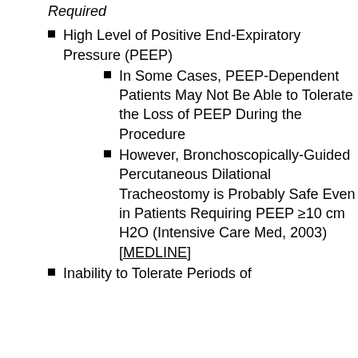Required
High Level of Positive End-Expiratory Pressure (PEEP)
In Some Cases, PEEP-Dependent Patients May Not Be Able to Tolerate the Loss of PEEP During the Procedure
However, Bronchoscopically-Guided Percutaneous Dilational Tracheostomy is Probably Safe Even in Patients Requiring PEEP ≥10 cm H2O (Intensive Care Med, 2003) [MEDLINE]
Inability to Tolerate Periods of